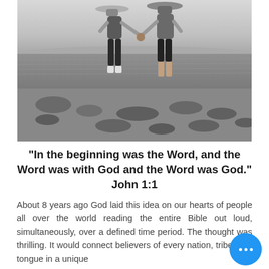[Figure (photo): Black and white photo of two people standing hand-in-hand facing a body of water, both wearing hats, viewed from behind, standing on a rocky shoreline.]
“In the beginning was the Word, and the Word was with God and the Word was God.” John 1:1
About 8 years ago God laid this idea on our hearts of people all over the world reading the entire Bible out loud, simultaneously, over a defined time period. The thought was thrilling. It would connect believers of every nation, tribe, and tongue in a unique